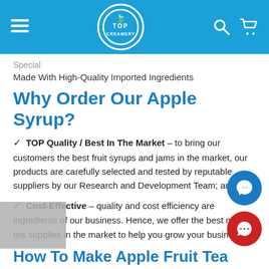[Figure (screenshot): Top Creamery website navigation bar with hamburger menu, circular logo, search icon and cart icon on blue background]
Special
Made With High-Quality Imported Ingredients
Why Order Our Apple Syrup?
TOP Quality / Best In The Market – to bring our customers the best fruit syrups and jams in the market, our products are carefully selected and tested by reputable suppliers by our Research and Development Team; and
Cost-Effective – quality and cost efficiency are ingredients of our business. Hence, we offer the best milk tea supplies in the market to help you grow your business.
How To Make Apple Fruit Tea (For 16oz Fruit